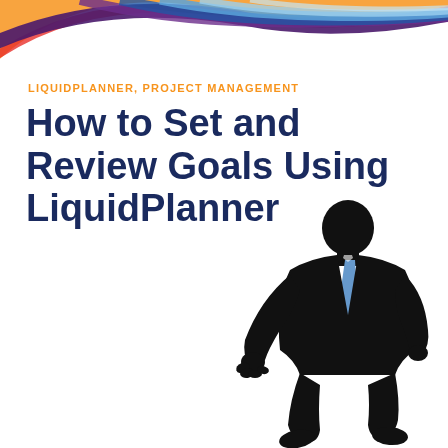[Figure (illustration): Colorful arc logo at the top with swirling colors: orange, red, purple, blue, light blue on a white background]
LIQUIDPLANNER, PROJECT MANAGEMENT
How to Set and Review Goals Using LiquidPlanner
[Figure (illustration): Black silhouette of a businessman in a suit with a blue tie, appearing to be walking or striding forward, positioned on the right side of the page]